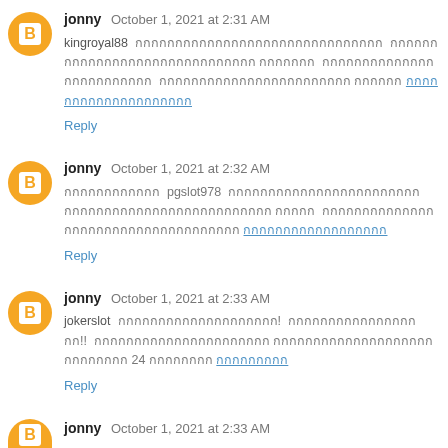jonny October 1, 2021 at 2:31 AM
kingroyal88 [Thai text] [Thai link]
Reply
jonny October 1, 2021 at 2:32 AM
[Thai text] pgslot978 [Thai text] [Thai link]
Reply
jonny October 1, 2021 at 2:33 AM
jokerslot [Thai text]! [Thai text]!! [Thai text] 24 [Thai text] [Thai link]
Reply
jonny October 1, 2021 at 2:33 AM